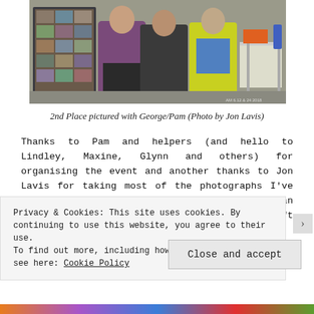[Figure (photo): Three people posing together outdoors. On the left is a man in a purple Superdry hoodie and black shorts, in the middle a person in a black jacket, and on the right a person in a high-visibility yellow vest over a striped top. Behind them is a display board covered in photographs.]
2nd Place pictured with George/Pam (Photo by Jon Lavis)
Thanks to Pam and helpers (and hello to Lindley, Maxine, Glynn and others) for organising the event and another thanks to Jon Lavis for taking most of the photographs I've used in the blog. A final thank you to Adrian Lee for crewing for me and giving me a lift home as I was a bit sore immediately after the
Privacy & Cookies: This site uses cookies. By continuing to use this website, you agree to their use.
To find out more, including how to control cookies, see here: Cookie Policy
Close and accept